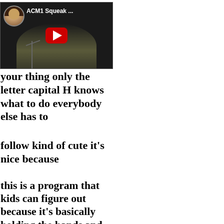[Figure (screenshot): YouTube video thumbnail showing a speaker at a podium with title 'ACM1 Squeak ...' and a profile avatar in the top-left corner]
your thing only the letter capital H knows what to do everybody else has to
follow kind of cute it's nice because
this is a program that kids can figure out because it's basically holding the hands and falling you notice that these